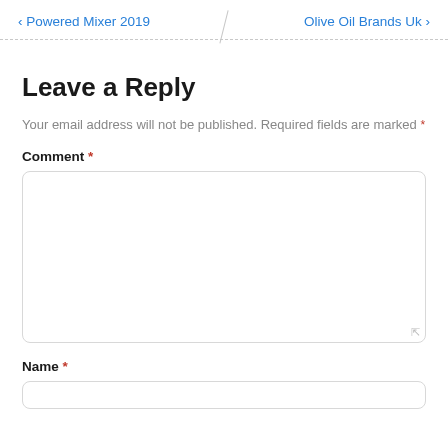< Powered Mixer 2019    Olive Oil Brands Uk >
Leave a Reply
Your email address will not be published. Required fields are marked *
Comment *
Name *